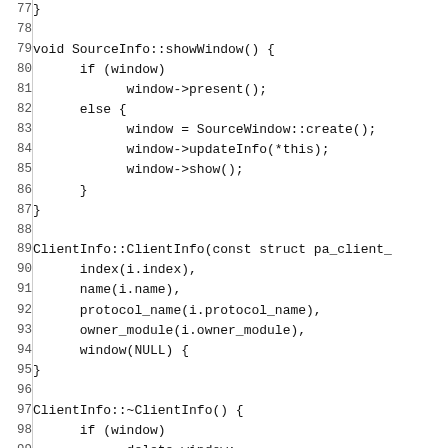Code listing lines 77-106 showing C++ source code for SourceInfo::showWindow(), ClientInfo::ClientInfo(), ClientInfo::~ClientInfo(), and void ClientInfo::update()